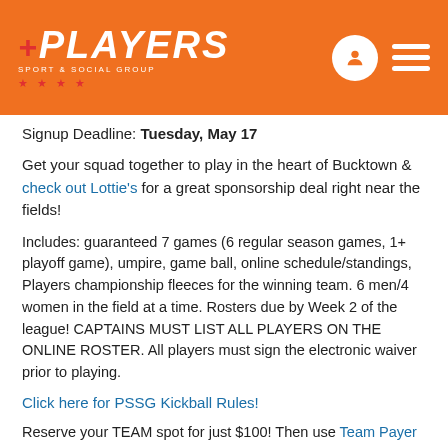PLAYERS SPORT & SOCIAL GROUP
Signup Deadline: Tuesday, May 17
Get your squad together to play in the heart of Bucktown & check out Lottie's for a great sponsorship deal right near the fields!
Includes: guaranteed 7 games (6 regular season games, 1+ playoff game), umpire, game ball, online schedule/standings, Players championship fleeces for the winning team. 6 men/4 women in the field at a time. Rosters due by Week 2 of the league! CAPTAINS MUST LIST ALL PLAYERS ON THE ONLINE ROSTER. All players must sign the electronic waiver prior to playing.
Click here for PSSG Kickball Rules!
Reserve your TEAM spot for just $100! Then use Team Payer to assign fees for each of your teammates to pay online directly to us! Team Payer is available until the Payment Deadline (or 5 days after your sign up date). No matter when you register, you'll get at least 5 days to use Team Payer.